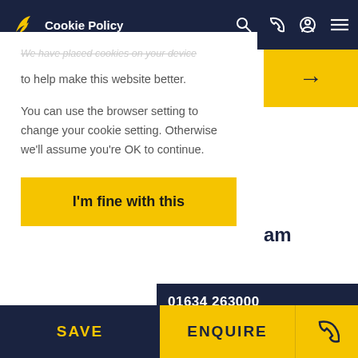Cookie Policy
We have placed cookies on your device to help make this website better.

You can use the browser setting to change your cookie setting. Otherwise we'll assume you're OK to continue.
I'm fine with this
am
01634 263000
[Figure (photo): Estate agent storefront with property display boards visible through glass windows, interior lighting, people inside]
SAVE
ENQUIRE